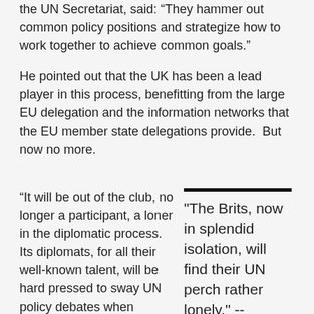the UN Secretariat, said: “They hammer out common policy positions and strategize how to work together to achieve common goals.”
He pointed out that the UK has been a lead player in this process, benefitting from the large EU delegation and the information networks that the EU member state delegations provide.  But now no more.
“It will be out of the club, no longer a participant, a loner in the diplomatic process.  Its diplomats, for all their well-known talent, will be hard pressed to sway UN policy debates when differences arise with the EU.  The Brits, now in splendid isolation, will find their UN perch rather lonely,” said Paul
"The Brits, now in splendid isolation, will find their UN perch rather lonely," -- James Paul.